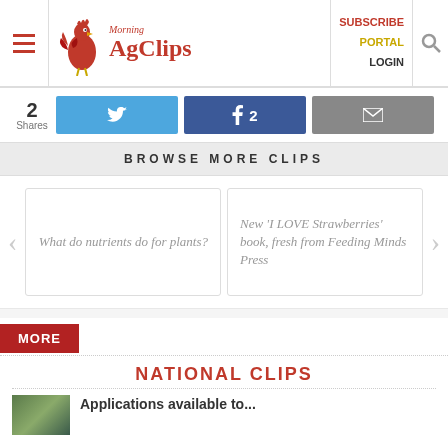Morning AgClips — SUBSCRIBE PORTAL LOGIN
2 Shares
BROWSE MORE CLIPS
What do nutrients do for plants?
New 'I LOVE Strawberries' book, fresh from Feeding Minds Press
MORE
NATIONAL CLIPS
Applications available to...